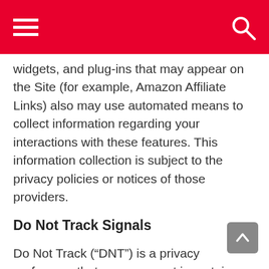widgets, and plug-ins that may appear on the Site (for example, Amazon Affiliate Links) also may use automated means to collect information regarding your interactions with these features. This information collection is subject to the privacy policies or notices of those providers.
Do Not Track Signals
Do Not Track (“DNT”) is a privacy preference that users can set in certain web browsers. DNT is a way for users to inform online services that they do not want certain information about their webpage visits collected over time and across websites or services. We are committed to providing you with meaningful choices about the information collected on the Services for third party purposes, and that is why we provide links to the Network Advertising Initiative and the Digital Advertising Alliance opt-out pages, as well as choices provided by Google Ads, Google Analytics, and TrustArc.